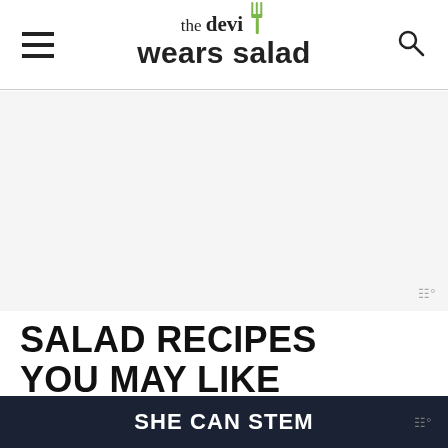the devi wears salad
[Figure (other): Advertisement placeholder area with light gray background and watermark logo]
SALAD RECIPES YOU MAY LIKE
Get inspired by the biggest collection of salad recipes in the one place. We have recipes to su...
SHE CAN STEM